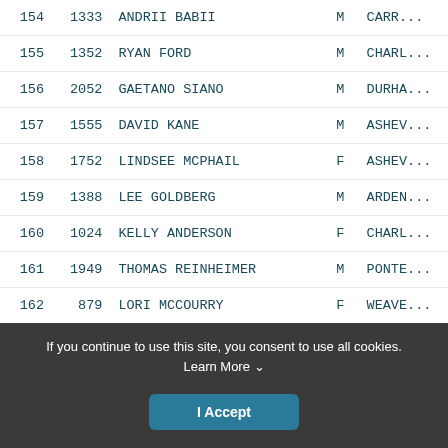| # | BIB | NAME | SEX | CITY |
| --- | --- | --- | --- | --- |
| 154 | 1333 | ANDRII BABII | M | CARR... |
| 155 | 1352 | RYAN FORD | M | CHARL... |
| 156 | 2052 | GAETANO SIANO | M | DURHA... |
| 157 | 1555 | DAVID KANE | M | ASHEV... |
| 158 | 1752 | LINDSEE MCPHAIL | F | ASHEV... |
| 159 | 1388 | LEE GOLDBERG | M | ARDEN... |
| 160 | 1024 | KELLY ANDERSON | F | CHARL... |
| 161 | 1949 | THOMAS REINHEIMER | M | PONTE... |
| 162 | 879 | LORI MCCOURRY | F | WEAVE... |
| 163 | 869 | ROBERT GREVIOUS | M | WESTM... |
If you continue to use this site, you consent to use all cookies. Learn More
I Accept